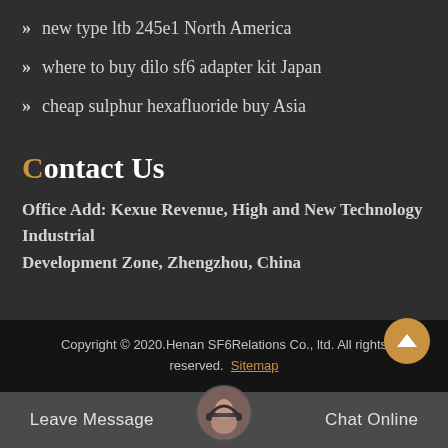» new type ltb 245e1 North America
» where to buy dilo sf6 adapter kit Japan
» cheap sulphur hexafluoride buy Asia
Contact Us
Office Add: Kexue Revenue, High and New Technology Industrial Development Zone, Zhengzhou, China
Copyright © 2020.Henan SF6Relations Co., ltd. All rights reserved. Sitemap
Leave Message    Chat Online